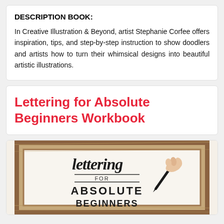DESCRIPTION BOOK:
In Creative Illustration & Beyond, artist Stephanie Corfee offers inspiration, tips, and step-by-step instruction to show doodlers and artists how to turn their whimsical designs into beautiful artistic illustrations.
Lettering for Absolute Beginners Workbook
[Figure (photo): Photo of a framed hand-lettered sign reading 'Lettering for Absolute Beginners' being drawn with a black pen by a hand visible on the right side. The frame is rustic wood.]